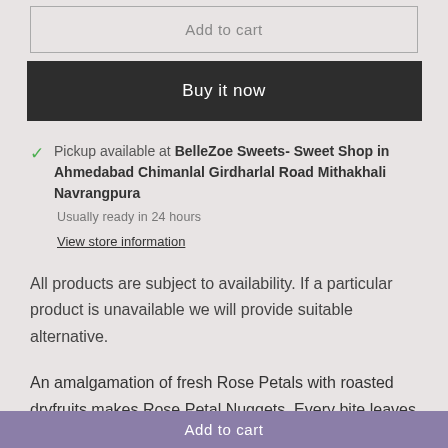Add to cart
Buy it now
Pickup available at BelleZoe Sweets- Sweet Shop in Ahmedabad Chimanlal Girdharlal Road Mithakhali Navrangpura
Usually ready in 24 hours
View store information
All products are subject to availability. If a particular product is unavailable we will provide suitable alternative.
An amalgamation of fresh Rose Petals with roasted dryfruits makes Rose Petal Nuggets. Every bite leaves you with sensation of rose in your mouth
Add to cart